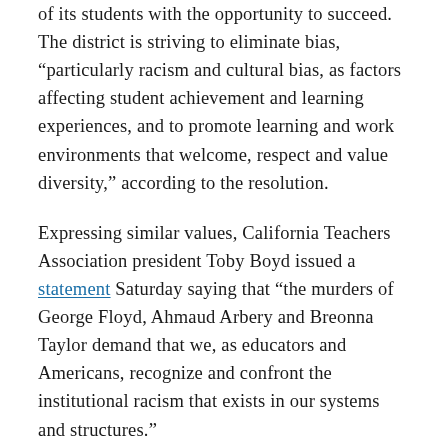of its students with the opportunity to succeed. The district is striving to eliminate bias, “particularly racism and cultural bias, as factors affecting student achievement and learning experiences, and to promote learning and work environments that welcome, respect and value diversity,” according to the resolution.
Expressing similar values, California Teachers Association president Toby Boyd issued a statement Saturday saying that “the murders of George Floyd, Ahmaud Arbery and Breonna Taylor demand that we, as educators and Americans, recognize and confront the institutional racism that exists in our systems and structures.”